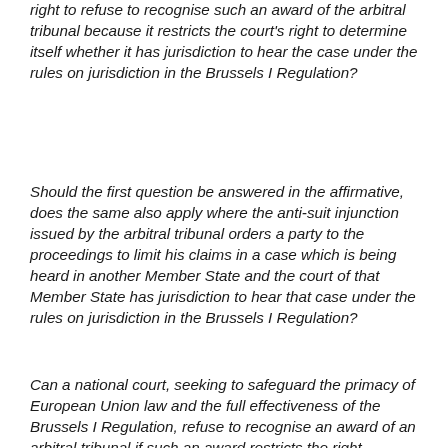right to refuse to recognise such an award of the arbitral tribunal because it restricts the court's right to determine itself whether it has jurisdiction to hear the case under the rules on jurisdiction in the Brussels I Regulation?
Should the first question be answered in the affirmative, does the same also apply where the anti-suit injunction issued by the arbitral tribunal orders a party to the proceedings to limit his claims in a case which is being heard in another Member State and the court of that Member State has jurisdiction to hear that case under the rules on jurisdiction in the Brussels I Regulation?
Can a national court, seeking to safeguard the primacy of European Union law and the full effectiveness of the Brussels I Regulation, refuse to recognise an award of an arbitral tribunal if such an award restricts the right